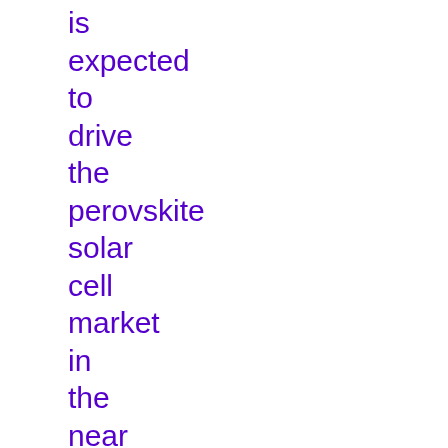is expected to drive the perovskite solar cell market in the near future. In terms of geography,